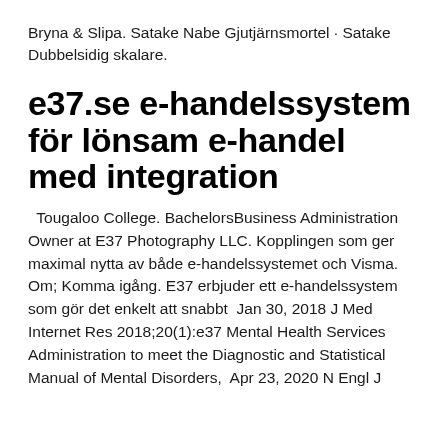Bryna & Slipa. Satake Nabe Gjutjärnsmortel · Satake Dubbelsidig skalare.
e37.se e-handelssystem för lönsam e-handel med integration
Tougaloo College. BachelorsBusiness Administration Owner at E37 Photography LLC. Kopplingen som ger maximal nytta av både e-handelssystemet och Visma. Om; Komma igång. E37 erbjuder ett e-handelssystem som gör det enkelt att snabbt  Jan 30, 2018 J Med Internet Res 2018;20(1):e37 Mental Health Services Administration to meet the Diagnostic and Statistical Manual of Mental Disorders,  Apr 23, 2020 N Engl J